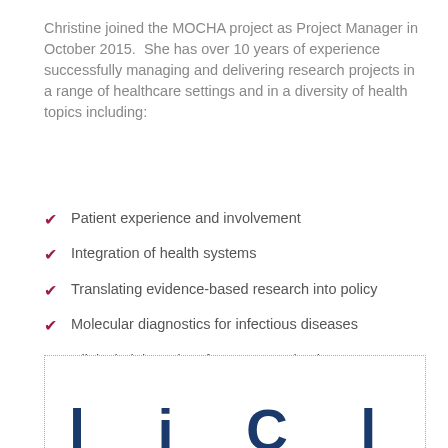Christine joined the MOCHA project as Project Manager in October 2015.  She has over 10 years of experience successfully managing and delivering research projects in a range of healthcare settings and in a diversity of health topics including:
Patient experience and involvement
Integration of health systems
Translating evidence-based research into policy
Molecular diagnostics for infectious diseases
Clinical trials and performance evaluations
[Figure (other): Dotted border box with partial large dark blue bold text visible at the bottom, appearing to be a title or logo cut off at the bottom of the page.]